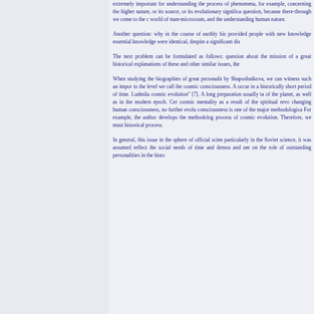extremely important for understanding the process of phenomena, for example, concerning the higher nature, or its source, or its evolutionary significance, question, because there-through we come to the concept world of man-microcosm, and the understanding of human nature.
Another question: why in the course of earthly his provided people with new knowledge essential knowledge were identical, despite a significant distance
The next problem can be formulated as follows: the question about the mission of a great historical explanations of these and other similar issues, the
When studying the biographies of great personalities by Shaposhnikova, we can witness such an important to the level we call the cosmic consciousness. A occur in a historically short period of time. Ludmila cosmic evolution" [7]. A long preparation usually takes of the planet, as well as in the modern epoch. Certain cosmic mentality as a result of the spiritual revolution changing human consciousness, no further evolutionary consciousness is one of the major methodological For example, the author develops the methodology process of cosmic evolution. Therefore, we must historical process.
In general, this issue in the sphere of official science particularly in the Soviet science, it was assumed reflect the social needs of time and demos and see on the role of outstanding personalities in the historical